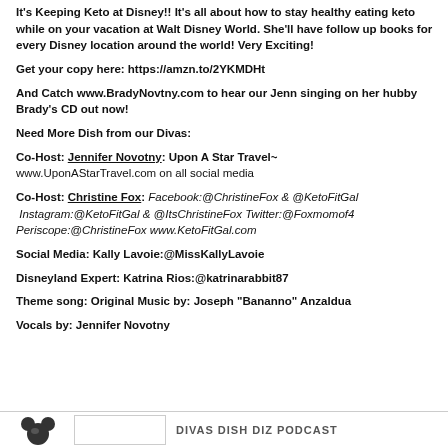It's Keeping Keto at Disney!! It's all about how to stay healthy eating keto while on your vacation at Walt Disney World. She'll have follow up books for every Disney location around the world! Very Exciting!
Get your copy here: https://amzn.to/2YKMDHt
And Catch www.BradyNovtny.com to hear our Jenn singing on her hubby Brady's CD out now!
Need More Dish from our Divas:
Co-Host: Jennifer Novotny: Upon A Star Travel~ www.UponAStarTravel.com on all social media
Co-Host: Christine Fox: Facebook:@ChristineFox & @KetoFitGal Instagram:@KetoFitGal & @ItsChristineFox Twitter:@Foxmomof4 Periscope:@ChristineFox www.KetoFitGal.com
Social Media: Kally Lavoie:@MissKallyLavoie
Disneyland Expert: Katrina Rios:@katrinarabbit87
Theme song: Original Music by: Joseph "Bananno" Anzaldua
Vocals by: Jennifer Novotny
DIVAS DISH DIZ PODCAST